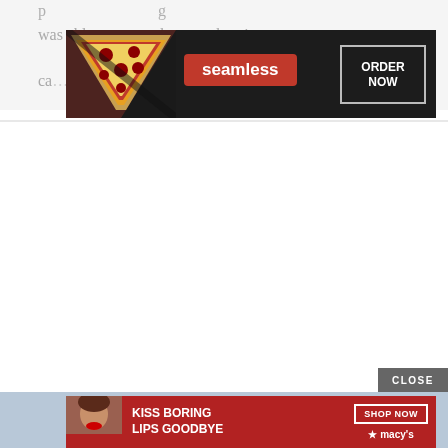was able to get to show on that tiny
ca...
[Figure (screenshot): Seamless food delivery advertisement banner with pizza image, Seamless brand name in red pill, and ORDER NOW button with white border on dark background]
[Figure (screenshot): Macy's advertisement banner with 'KISS BORING LIPS GOODBYE' text on red background, woman with red lips, SHOP NOW button, and Macy's star logo]